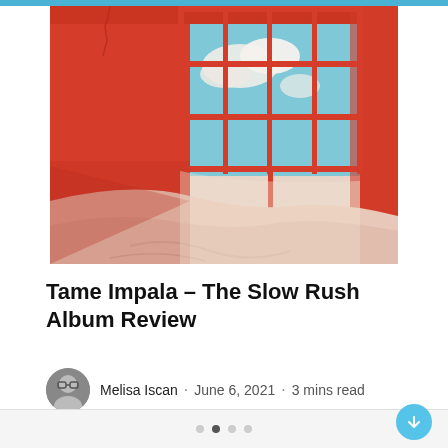[Figure (photo): Album cover art for Tame Impala's The Slow Rush — a surreal image of a red-walled room with large red-framed windows looking out onto a cloudy blue sky, with pale pink sand drifting across the floor]
Tame Impala – The Slow Rush Album Review
Melisa Iscan · June 6, 2021 · 3 mins read